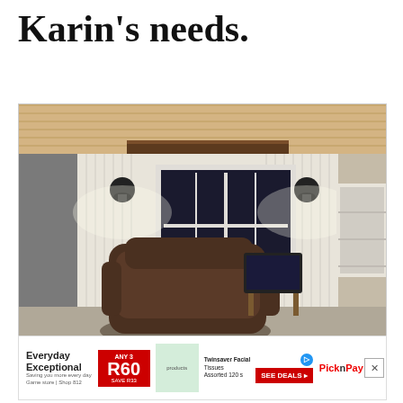Karin's needs.
[Figure (photo): Interior room photo showing a cozy space with wood plank ceiling, exposed wood beam, two black wall sconce lights flanking a white multi-pane window, white beadboard wainscoting, a dark brown leather/fabric recliner chair, and a laptop on a folding table. The room has warm ambient lighting.]
[Figure (other): Advertisement banner: Everyday Exceptional - Any 3 for R60 Save R33 - Twinsaver Facial Tissues Assorted 120s - See Deals - Pick n Pay logo]